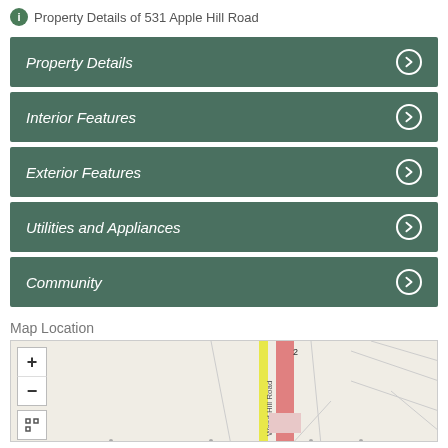Property Details of 531 Apple Hill Road
Property Details
Interior Features
Exterior Features
Utilities and Appliances
Community
Map Location
[Figure (map): Street map showing location near Apple Hill Road with zoom controls and a red/pink highlighted road segment]